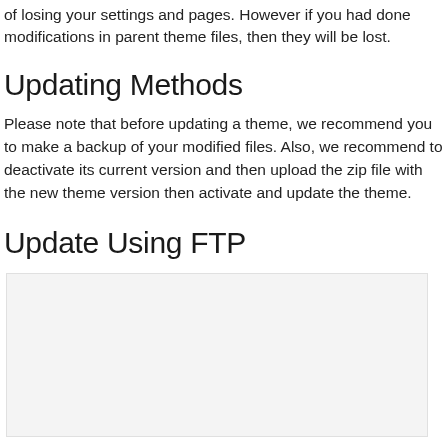of losing your settings and pages. However if you had done modifications in parent theme files, then they will be lost.
Updating Methods
Please note that before updating a theme, we recommend you to make a backup of your modified files. Also, we recommend to deactivate its current version and then upload the zip file with the new theme version then activate and update the theme.
Update Using FTP
[Figure (screenshot): Screenshot area showing FTP update process, displayed as a light gray placeholder box]